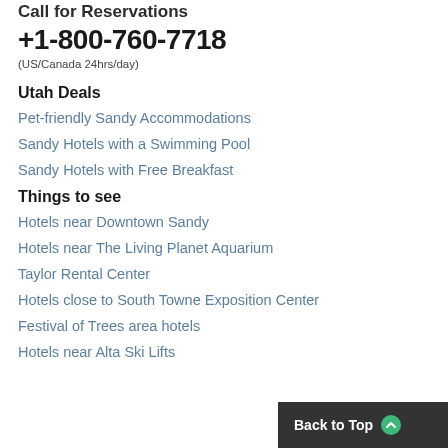Call for Reservations
+1-800-760-7718
(US/Canada 24hrs/day)
Utah Deals
Pet-friendly Sandy Accommodations
Sandy Hotels with a Swimming Pool
Sandy Hotels with Free Breakfast
Things to see
Hotels near Downtown Sandy
Hotels near The Living Planet Aquarium
Taylor Rental Center
Hotels close to South Towne Exposition Center
Festival of Trees area hotels
Hotels near Alta Ski Lifts
Back to Top